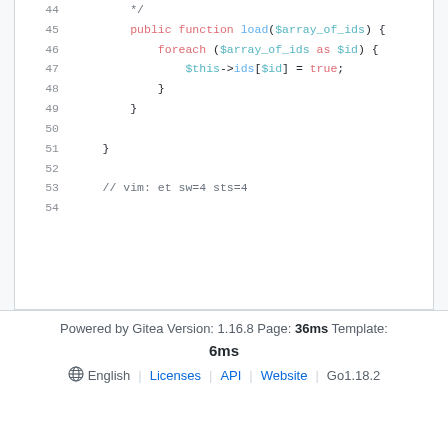[Figure (screenshot): Code viewer showing PHP code lines 44-54 with syntax highlighting. Line 44: */ (comment close), Line 45: public function load($array_of_ids) {, Line 46: foreach ($array_of_ids as $id) {, Line 47: $this->ids[$id] = true;, Line 48: }, Line 49: }, Line 50: (empty), Line 51: }, Line 52: (empty), Line 53: // vim: et sw=4 sts=4, Line 54: (empty)]
Powered by Gitea Version: 1.16.8 Page: 36ms Template: 6ms | English | Licenses | API | Website | Go1.18.2